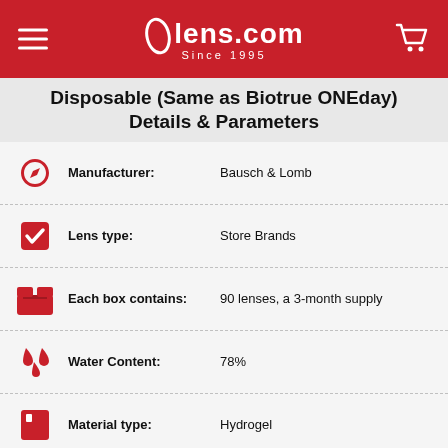lens.com Since 1995
Disposable (Same as Biotrue ONEday) Details & Parameters
| Icon | Parameter | Value |
| --- | --- | --- |
| settings | Manufacturer: | Bausch & Lomb |
| calendar | Lens type: | Store Brands |
| box | Each box contains: | 90 lenses, a 3-month supply |
| water | Water Content: | 78% |
| material | Material type: | Hydrogel |
| wave | Oxygen transmissibility: | 42 Dk/t |
| moon | Can be worn overnight?: | No |
| partial | Recommended wearing |  |